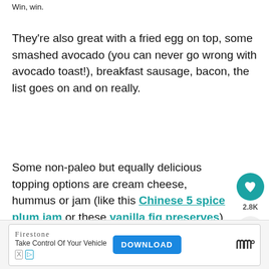Win, win.
They're also great with a fried egg on top, some smashed avocado (you can never go wrong with avocado toast!), breakfast sausage, bacon, the list goes on and on really.
Some non-paleo but equally delicious topping options are cream cheese, hummus or jam (like this Chinese 5 spice plum jam or these vanilla fig preserves).
[Figure (other): Social media sidebar with heart/save button showing 2.8K saves and a share button]
[Figure (other): What's Next panel showing thumbnail image and text 'Paleo Pumpkin...']
[Figure (other): Advertisement banner: Firestone 'Take Control Of Your Vehicle' with Download button]